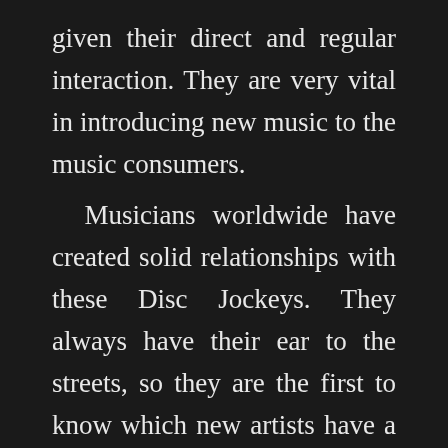given their direct and regular interaction. They are very vital in introducing new music to the music consumers.
Musicians worldwide have created solid relationships with these Disc Jockeys. They always have their ear to the streets, so they are the first to know which new artists have a buzz, what songs are liked by the consumers and what songs have no audience reaction.
DJs can provide reliable feedback to musicians. Have Liberian musicians made the best use of Disc Jockeys?
In this C Liberia Clearly DJs Exclusive, we tried to